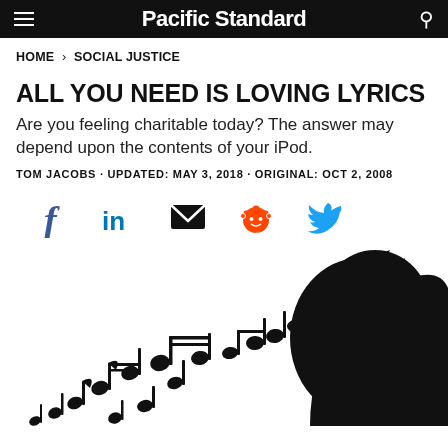Pacific Standard
HOME › SOCIAL JUSTICE
ALL YOU NEED IS LOVING LYRICS
Are you feeling charitable today? The answer may depend upon the contents of your iPod.
TOM JACOBS · UPDATED: MAY 3, 2018 · ORIGINAL: OCT 2, 2008
[Figure (infographic): Social share icons: Facebook (f), LinkedIn (in), Email (envelope), Reddit (alien), Twitter (bird)]
[Figure (illustration): Black silhouette of a person with music notes flowing from their head, representing music and emotion.]